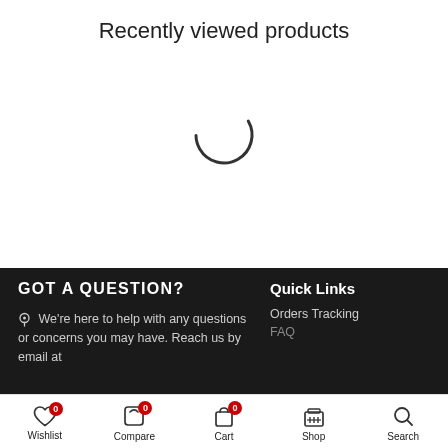Recently viewed products
[Figure (other): Loading spinner (circular arc indicating content loading)]
GOT A QUESTION?
We're here to help with any questions or concerns you may have. Reach us by email at
Quick Links
Orders Tracking
FAQ
Wishlist 0 | Compare 0 | Cart 0 | Shop | Search